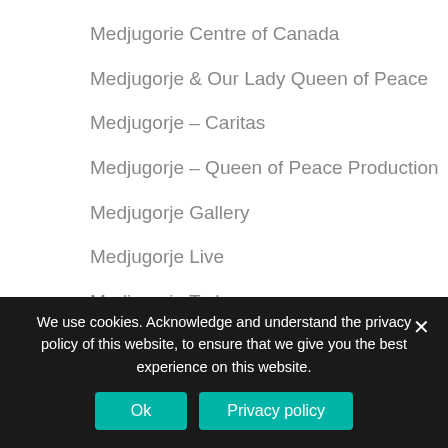Medjugorie Centre of Canada
Medjugorje & Our Lady Queen of Peace
Medjugorje – Caritas
Medjugorje – Queen of Peace Production
Medjugorje Gallery
Medjugorje Live
Medjugorje Today
Medjugorje-mir,mir,mir
medjugorje.hr
Medjugorje.net
We use cookies. Acknowledge and understand the privacy policy of this website, to ensure that we give you the best experience on this website.